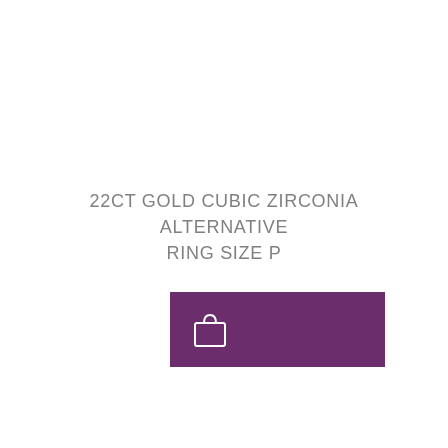22CT GOLD CUBIC ZIRCONIA ALTERNATIVE RING SIZE P
[Figure (other): Purple rectangular button with a white shopping bag icon]